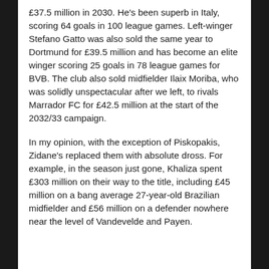£37.5 million in 2030. He's been superb in Italy, scoring 64 goals in 100 league games. Left-winger Stefano Gatto was also sold the same year to Dortmund for £39.5 million and has become an elite winger scoring 25 goals in 78 league games for BVB. The club also sold midfielder Ilaix Moriba, who was solidly unspectacular after we left, to rivals Marrador FC for £42.5 million at the start of the 2032/33 campaign.
In my opinion, with the exception of Piskopakis, Zidane's replaced them with absolute dross. For example, in the season just gone, Khaliza spent £303 million on their way to the title, including £45 million on a bang average 27-year-old Brazilian midfielder and £56 million on a defender nowhere near the level of Vandevelde and Payen.